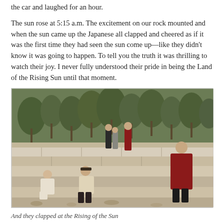the car and laughed for an hour.
The sun rose at 5:15 a.m. The excitement on our rock mounted and when the sun came up the Japanese all clapped and cheered as if it was the first time they had seen the sun come up—like they didn't know it was going to happen. To tell you the truth it was thrilling to watch their joy. I never fully understood their pride in being the Land of the Rising Sun until that moment.
[Figure (photo): Group of people sitting and standing on large flat stone steps or terraced rocks in a wooded outdoor setting. Several figures are visible: two people seated on lower rocks in the foreground, a person in a red coat standing alone on the right, and three people standing together in the background near trees.]
And they clapped at the Rising of the Sun